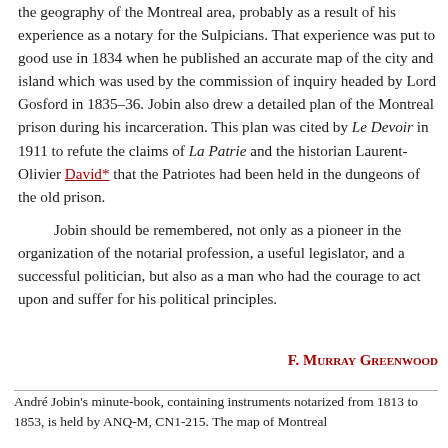the geography of the Montreal area, probably as a result of his experience as a notary for the Sulpicians. That experience was put to good use in 1834 when he published an accurate map of the city and island which was used by the commission of inquiry headed by Lord Gosford in 1835–36. Jobin also drew a detailed plan of the Montreal prison during his incarceration. This plan was cited by Le Devoir in 1911 to refute the claims of La Patrie and the historian Laurent-Olivier David* that the Patriotes had been held in the dungeons of the old prison.

Jobin should be remembered, not only as a pioneer in the organization of the notarial profession, a useful legislator, and a successful politician, but also as a man who had the courage to act upon and suffer for his political principles.
F. Murray Greenwood
André Jobin's minute-book, containing instruments notarized from 1813 to 1853, is held by ANQ-M, CN1-215. The map of Montreal